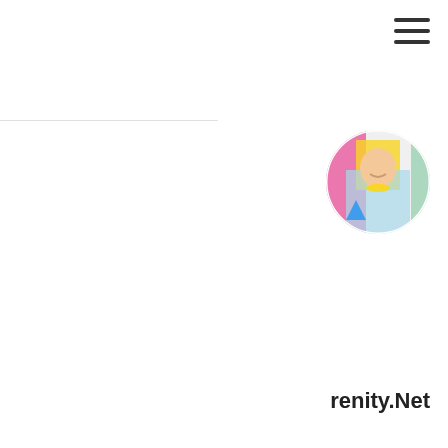[Figure (screenshot): Hamburger menu icon (three horizontal lines) in top right corner of a mobile web interface]
[Figure (photo): Circular profile photo of a person with yellow/orange flowers and colorful background, partially visible]
renity.Net
ne
C (refresh/reload icon)
ne or nickname
ssage